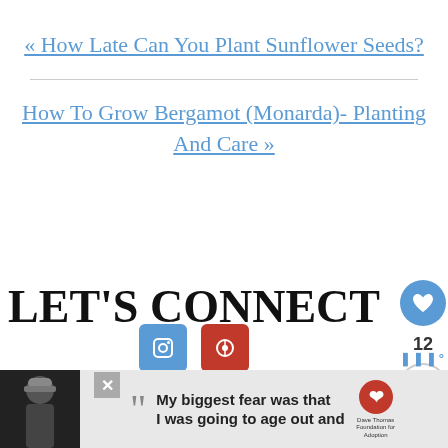« How Late Can You Plant Sunflower Seeds?
How To Grow Bergamot (Monarda)- Planting And Care »
LET'S CONNECT
[Figure (screenshot): Advertisement banner at bottom: dark background with person in beanie hat, quote text 'My biggest fear was that I was going to age out and', Dave Thomas Foundation for Adoption logo, and close button]
[Figure (other): Floating right-side UI: blue heart button, count 12, share button, and Weatherbug widget]